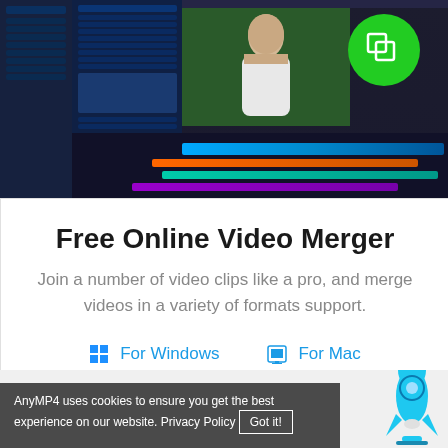[Figure (screenshot): Screenshot of a video editing software (dark UI with timeline, preview panel showing a person, and a green circle icon with overlapping squares) with a large green circular icon overlay in the top-right.]
Free Online Video Merger
Join a number of video clips like a pro, and merge videos in a variety of formats support.
For Windows   For Mac
AnyMP4 uses cookies to ensure you get the best experience on our website. Privacy Policy  Got it!
[Figure (illustration): Blue cartoon rocket icon in the bottom right corner.]